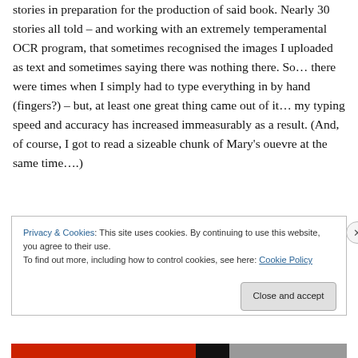stories in preparation for the production of said book. Nearly 30 stories all told – and working with an extremely temperamental OCR program, that sometimes recognised the images I uploaded as text and sometimes saying there was nothing there. So… there were times when I simply had to type everything in by hand (fingers?) – but, at least one great thing came out of it… my typing speed and accuracy has increased immeasurably as a result. (And, of course, I got to read a sizeable chunk of Mary's ouevre at the same time….)
Privacy & Cookies: This site uses cookies. By continuing to use this website, you agree to their use.
To find out more, including how to control cookies, see here: Cookie Policy
Close and accept